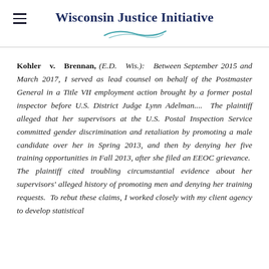Wisconsin Justice Initiative
Kohler v. Brennan, (E.D. Wis.): Between September 2015 and March 2017, I served as lead counsel on behalf of the Postmaster General in a Title VII employment action brought by a former postal inspector before U.S. District Judge Lynn Adelman.... The plaintiff alleged that her supervisors at the U.S. Postal Inspection Service committed gender discrimination and retaliation by promoting a male candidate over her in Spring 2013, and then by denying her five training opportunities in Fall 2013, after she filed an EEOC grievance. The plaintiff cited troubling circumstantial evidence about her supervisors' alleged history of promoting men and denying her training requests. To rebut these claims, I worked closely with my client agency to develop statistical